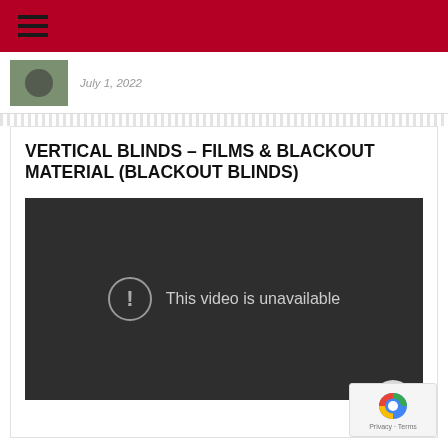July 1, 2022
VERTICAL BLINDS – FILMS & BLACKOUT MATERIAL (BLACKOUT BLINDS)
[Figure (screenshot): Embedded video player showing 'This video is unavailable' error message with a warning icon circle on a dark background]